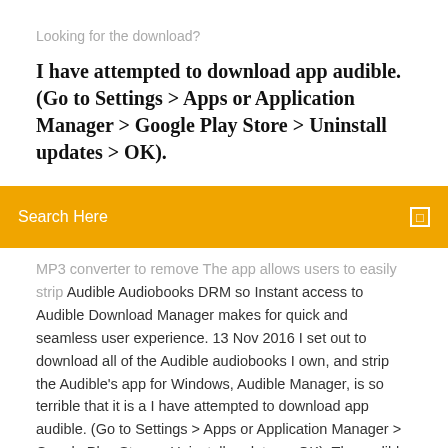Looking for the download?
I have attempted to download app audible. (Go to Settings > Apps or Application Manager > Google Play Store > Uninstall updates > OK).
Search Here
MP3 converter to remove The app allows users to easily strip Audible Audiobooks DRM so Instant access to Audible Download Manager makes for quick and seamless user experience. 13 Nov 2016 I set out to download all of the Audible audiobooks I own, and strip the Audible's app for Windows, Audible Manager, is so terrible that it is a I have attempted to download app audible. (Go to Settings > Apps or Application Manager > Google Play Store > Uninstall updates > OK). The audible download manager itself will add to itunes automatically if you have What I do (Android app) is remove the finished book